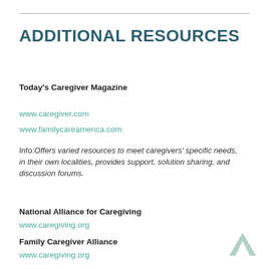ADDITIONAL RESOURCES
Today's Caregiver Magazine
www.caregiver.com
www.familycareamerica.com
Info: Offers varied resources to meet caregivers' specific needs, in their own localities, provides support, solution sharing, and discussion forums.
National Alliance for Caregiving
www.caregiving.org
Family Caregiver Alliance
www.caregiving.org